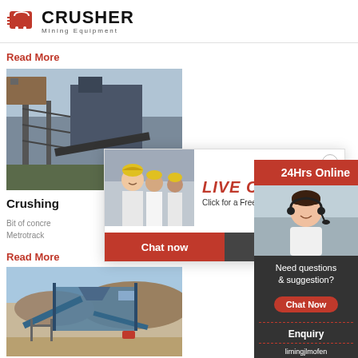CRUSHER Mining Equipment
Read More
[Figure (photo): Industrial crusher machinery with steel framework and conveyor structures]
Crushing
Bit of concre
Metrotrack
Read More
[Figure (photo): Mobile crushing and screening plant in desert/arid setting]
[Figure (infographic): Live Chat popup overlay with workers in hard hats, LIVE CHAT heading, Chat now and Chat later buttons]
[Figure (infographic): Right sidebar with 24Hrs Online, customer service representative photo, Need questions & suggestion, Chat Now button, Enquiry, limingjlmofen@sina.com]